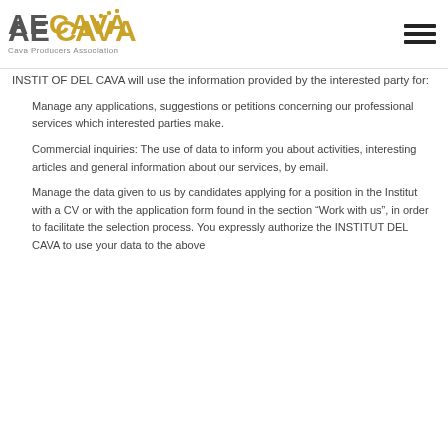[Figure (logo): AECAVA Cava Producers Association logo with golden dots above the V in CAVA]
INSTIT OF DEL CAVA will use the information provided by the interested party for:
Manage any applications, suggestions or petitions concerning our professional services which interested parties make.
Commercial inquiries: The use of data to inform you about activities, interesting articles and general information about our services, by email.
Manage the data given to us by candidates applying for a position in the Institut with a CV or with the application form found in the section “Work with us”, in order to facilitate the selection process. You expressly authorize the INSTITUT DEL CAVA to use your data to the above